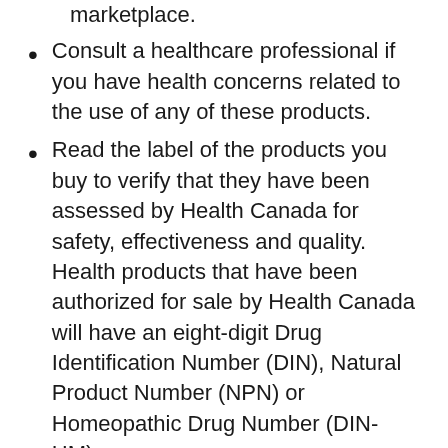marketplace. (partial/continuation at top)
Consult a healthcare professional if you have health concerns related to the use of any of these products.
Read the label of the products you buy to verify that they have been assessed by Health Canada for safety, effectiveness and quality. Health products that have been authorized for sale by Health Canada will have an eight-digit Drug Identification Number (DIN), Natural Product Number (NPN) or Homeopathic Drug Number (DIN-HM).